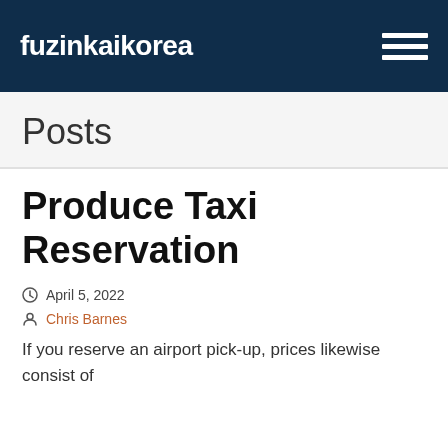fuzinkaikorea
Posts
Produce Taxi Reservation
April 5, 2022
Chris Barnes
If you reserve an airport pick-up, prices likewise consist of ...